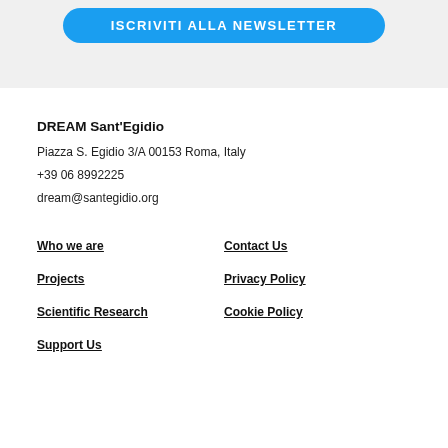[Figure (other): Blue rounded button with white uppercase text 'ISCRIVITI ALLA NEWSLETTER' on a light grey background]
DREAM Sant'Egidio
Piazza S. Egidio 3/A 00153 Roma, Italy
+39 06 8992225
dream@santegidio.org
Who we are
Contact Us
Projects
Privacy Policy
Scientific Research
Cookie Policy
Support Us